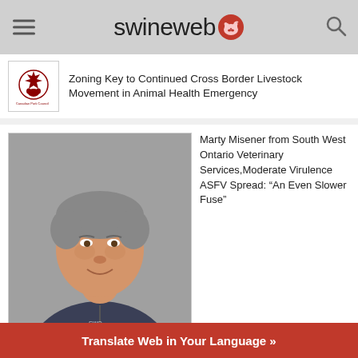swineweb
Zoning Key to Continued Cross Border Livestock Movement in Animal Health Emergency
[Figure (photo): Headshot photo of Marty Misener, a middle-aged man with grey hair wearing a dark navy zip-up fleece jacket, against a grey background.]
Marty Misener from South West Ontario Veterinary Services,Moderate Virulence ASFV Spread: “An Even Slower Fuse”
Translate Web in Your Language »